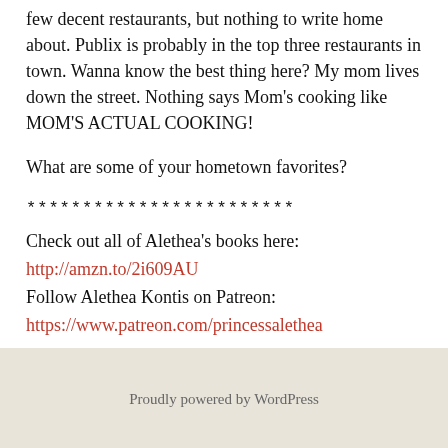few decent restaurants, but nothing to write home about. Publix is probably in the top three restaurants in town. Wanna know the best thing here? My mom lives down the street. Nothing says Mom's cooking like MOM'S ACTUAL COOKING!
What are some of your hometown favorites?
************************
Check out all of Alethea's books here:
http://amzn.to/2i609AU
Follow Alethea Kontis on Patreon:
https://www.patreon.com/princessalethea
Proudly powered by WordPress